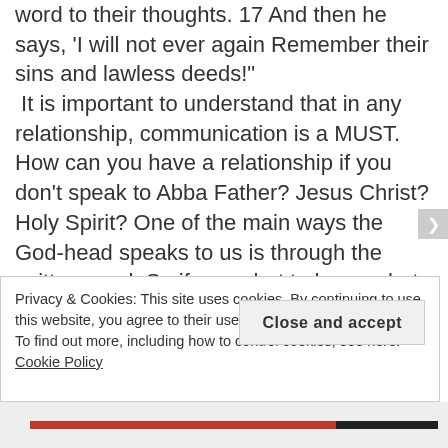word to their thoughts. 17 And then he says, 'I will not ever again Remember their sins and lawless deeds!' It is important to understand that in any relationship, communication is a MUST. How can you have a relationship if you don't speak to Abba Father? Jesus Christ? Holy Spirit? One of the main ways the God-head speaks to us is through the written word. So if you what to know what a person is about you study them... what are their likes and dislikes, what is their nature, character, temperament, etc... so my question then would be how would a person expect to know anything about God unless they study what God says? What
Privacy & Cookies: This site uses cookies. By continuing to use this website, you agree to their use.
To find out more, including how to control cookies, see here: Cookie Policy
Close and accept